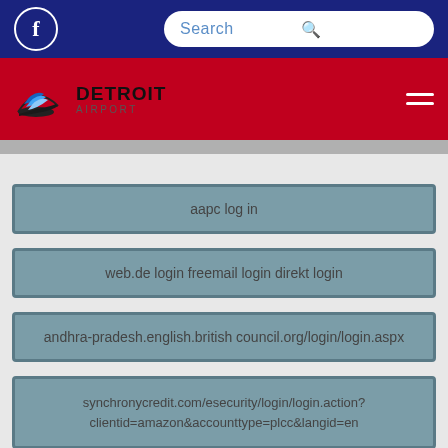Detroit Airport website header with Facebook link, Search bar, logo, and navigation menu
aapc log in
web.de login freemail login direkt login
andhra-pradesh.english.british council.org/login/login.aspx
synchronycredit.com/esecurity/login/login.action?clientid=amazon&accounttype=plcc&langid=en